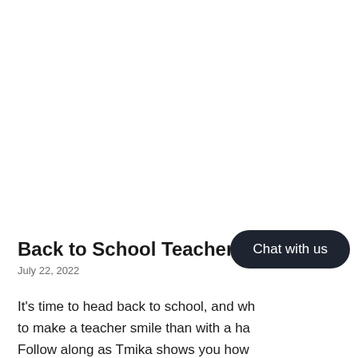Back to School Teacher Cards
July 22, 2022
It's time to head back to school, and wh to make a teacher smile than with a ha Follow along as Tmika shows you how beautiful back to school cards, including FREE svg files